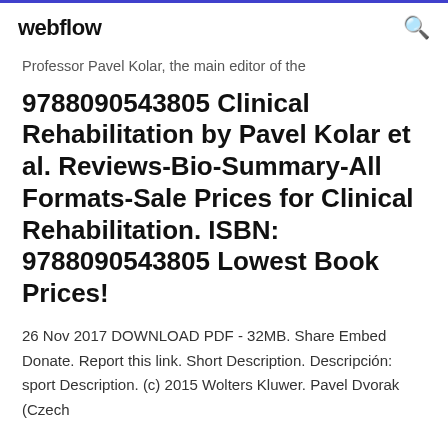webflow
Professor Pavel Kolar, the main editor of the
9788090543805 Clinical Rehabilitation by Pavel Kolar et al. Reviews-Bio-Summary-All Formats-Sale Prices for Clinical Rehabilitation. ISBN: 9788090543805 Lowest Book Prices!
26 Nov 2017 DOWNLOAD PDF - 32MB. Share Embed Donate. Report this link. Short Description. Descripción: sport Description. (c) 2015 Wolters Kluwer. Pavel Dvorak (Czech